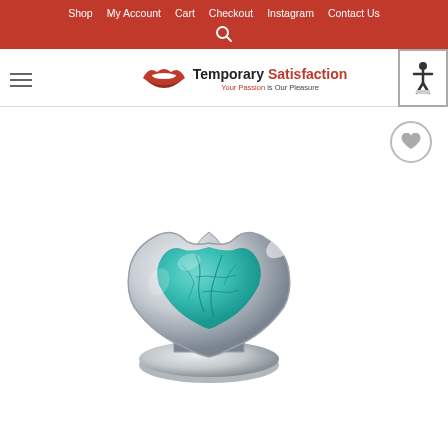Shop  My Account  Cart  Checkout  Instagram  Contact Us
[Figure (logo): Temporary Satisfaction logo with red lips icon and tagline 'Your Passion is Our Pleasure']
[Figure (photo): Silver metal plug with turquoise heart-shaped gemstone inset, photographed on white background. A circular wishlist/heart button is visible in upper right.]